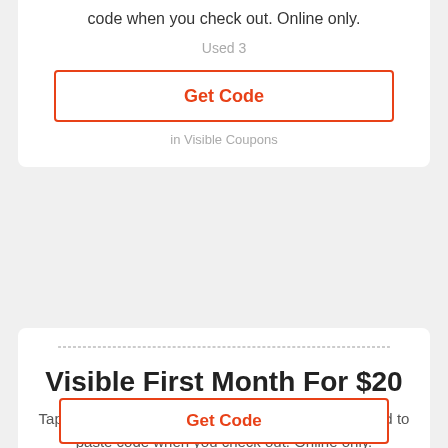code when you check out. Online only.
Used 3
Get Code
in Visible Coupons
[Figure (other): Offer coupon box with dashed border showing 'Offer' in large orange text and 'Code' label in grey bar below]
Visible First Month For $20
Tap offer to duplicate the voucher code. Keep in mind to paste code when you check out. Online only.
Used 1